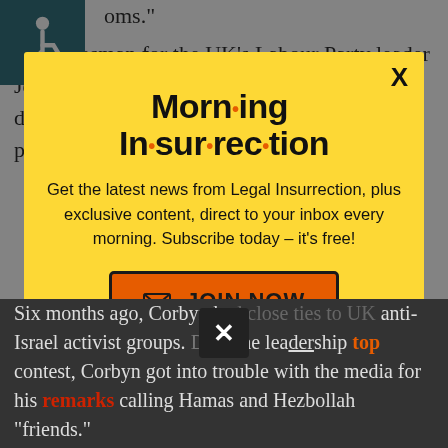oms." ...spokesman for the UK's Labour Party leader Jeremy Corbyn called the government's decision to prevent city councils and other public sector bodies...
[Figure (screenshot): Morning Insurrection newsletter popup modal with yellow background, showing title 'Morning Insurrection' with orange dots, subscription text, and orange JOIN NOW button with envelope icon. An X close button at top right. A dark close button at bottom center.]
Six months ago, Corbyn had close ties to UK anti-Israel activist groups. During the leadership contest, Corbyn got into trouble with the media for his remarks calling Hamas and Hezbollah "friends."